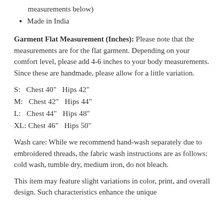measurements below)
Made in India
Garment Flat Measurement (Inches): Please note that the measurements are for the flat garment. Depending on your comfort level, please add 4-6 inches to your body measurements. Since these are handmade, please allow for a little variation.
S:  Chest 40"  Hips 42"
M:  Chest 42"  Hips 44"
L:  Chest 44"  Hips 48"
XL: Chest 46"  Hips 50"
Wash care: While we recommend hand-wash separately due to embroidered threads, the fabric wash instructions are as follows: cold wash, tumble dry, medium iron, do not bleach.
This item may feature slight variations in color, print, and overall design. Such characteristics enhance the unique